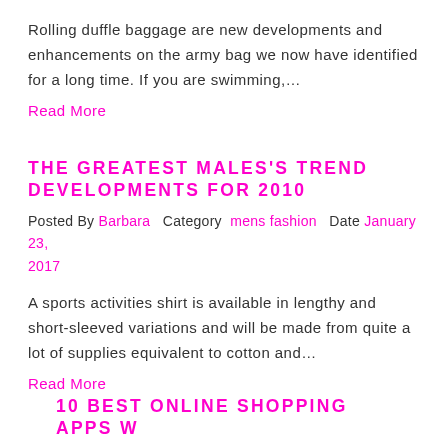Rolling duffle baggage are new developments and enhancements on the army bag we now have identified for a long time. If you are swimming,...
Read More
THE GREATEST MALES'S TREND DEVELOPMENTS FOR 2010
Posted By Barbara   Category  mens fashion   Date January 23, 2017
A sports activities shirt is available in lengthy and short-sleeved variations and will be made from quite a lot of supplies equivalent to cotton and...
Read More
10 BEST ONLINE SHOPPING APPS W